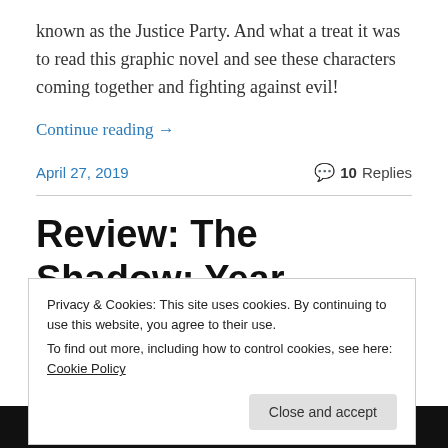known as the Justice Party. And what a treat it was to read this graphic novel and see these characters coming together and fighting against evil!
Continue reading →
April 27, 2019
10 Replies
Review: The Shadow: Year One
Privacy & Cookies: This site uses cookies. By continuing to use this website, you agree to their use.
To find out more, including how to control cookies, see here: Cookie Policy
Close and accept
[Figure (illustration): Bottom banner showing stylized 'THE SHADOW' text in orange/yellow italic font on black background]